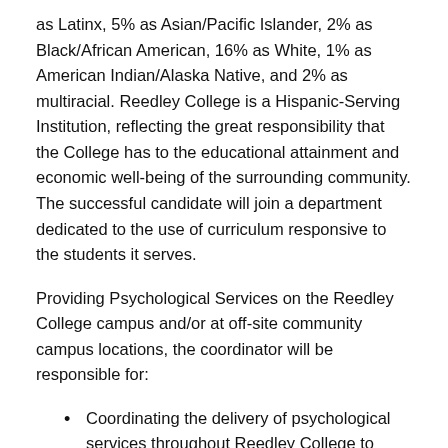as Latinx, 5% as Asian/Pacific Islander, 2% as Black/African American, 16% as White, 1% as American Indian/Alaska Native, and 2% as multiracial. Reedley College is a Hispanic-Serving Institution, reflecting the great responsibility that the College has to the educational attainment and economic well-being of the surrounding community. The successful candidate will join a department dedicated to the use of curriculum responsive to the students it serves.
Providing Psychological Services on the Reedley College campus and/or at off-site community campus locations, the coordinator will be responsible for:
Coordinating the delivery of psychological services throughout Reedley College to include but not be limited to brief-therapy, crisis intervention, referrals, record keeping, assessing student behavior, educational programs and the development of policies, procedures and protocols;